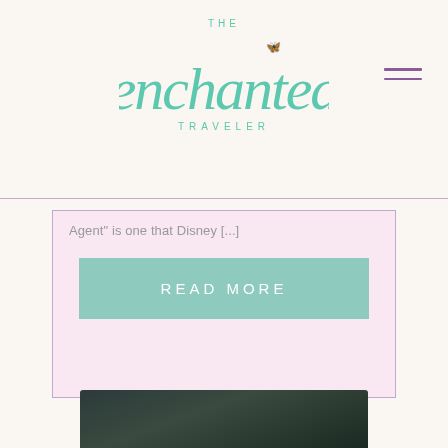[Figure (logo): The Enchanted Traveler logo in teal/mint script font with 'THE' and 'TRAVELER' in spaced uppercase letters]
Agent" is one that Disney [...]
READ MORE
[Figure (photo): Partial dark image visible at bottom of page, appears to be a travel/nature photo]